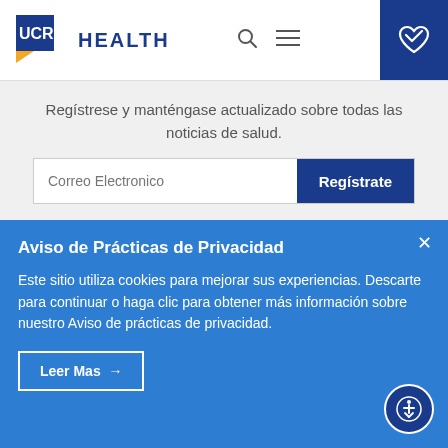[Figure (logo): UCR HEALTH logo with blue box and yellow accent]
Regístrese y manténgase actualizado sobre todas las noticias de salud.
Correo Electronico
Regístrate
Aviso de Prácticas de Privacidad
Este sitio utiliza cookies para mejorar sus experiencias. Descarte para continuar o haga clic para obtener más información sobre nuestro Aviso de prácticas de privacidad.
Leer Mas →